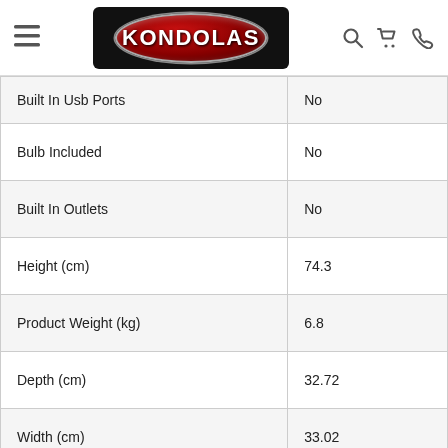KONDOLAS navigation header with hamburger menu, logo, search, cart, and phone icons
| Attribute | Value |
| --- | --- |
| Built In Usb Ports | No |
| Bulb Included | No |
| Built In Outlets | No |
| Height (cm) | 74.3 |
| Product Weight (kg) | 6.8 |
| Depth (cm) | 32.72 |
| Width (cm) | 33.02 |